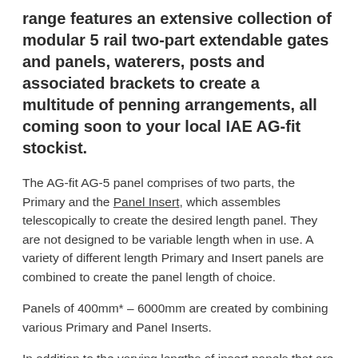range features an extensive collection of modular 5 rail two-part extendable gates and panels, waterers, posts and associated brackets to create a multitude of penning arrangements, all coming soon to your local IAE AG-fit stockist.
The AG-fit AG-5 panel comprises of two parts, the Primary and the Panel Insert, which assembles telescopically to create the desired length panel. They are not designed to be variable length when in use. A variety of different length Primary and Insert panels are combined to create the panel length of choice.
Panels of 400mm* – 6000mm are created by combining various Primary and Panel Inserts.
In addition to the varying lengths of insert panels that are available, different types of insert are